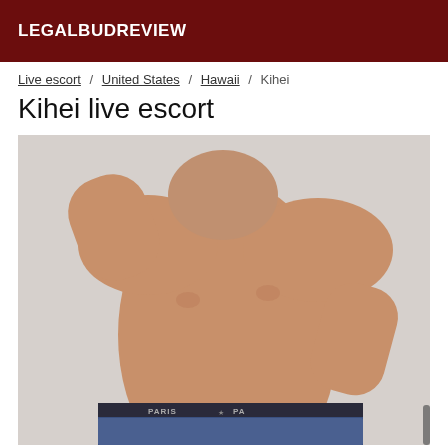LEGALBUDREVIEW
Live escort / United States / Hawaii / Kihei
Kihei live escort
[Figure (photo): Shirtless male person photographed from neck to waist, wearing jeans with Paris-branded underwear visible, hand raised near face, other hand on hip, against a light background.]